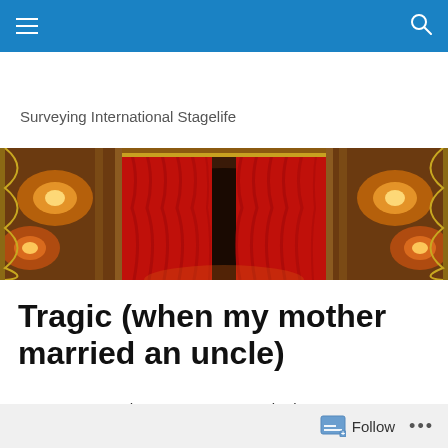≡  🔍
Surveying International Stagelife
[Figure (photo): A grand theatre interior with a red curtain on stage, ornate golden balconies and boxes on either side, warm stage lighting visible.]
Tragic (when my mother married an uncle)
Eden Court – One Touch Theatre
Follow  •••